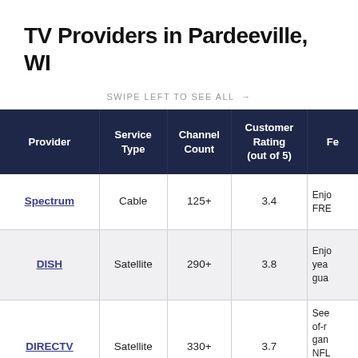TV Providers in Pardeeville, WI
SWIPE LEFT TO SEE ALL →
| Provider | Service Type | Channel Count | Customer Rating (out of 5) | Fe... |
| --- | --- | --- | --- | --- |
| Spectrum | Cable | 125+ | 3.4 | Enjo... FRE... |
| DISH | Satellite | 290+ | 3.8 | Enjo... yea... gua... |
| DIRECTV | Satellite | 330+ | 3.7 | See... of-r... gan... NFL... SUN... TIC... |